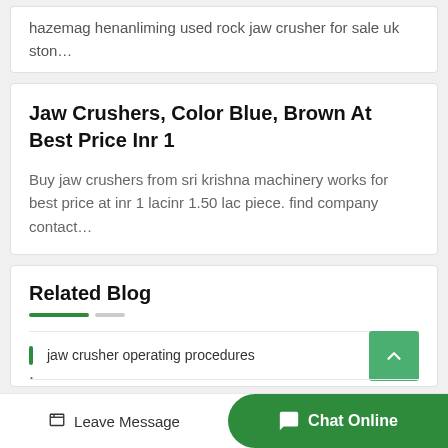hazemag henanliming used rock jaw crusher for sale uk ston…
Jaw Crushers, Color Blue, Brown At Best Price Inr 1
Buy jaw crushers from sri krishna machinery works for best price at inr 1 lacinr 1.50 lac piece. find company contact…
Related Blog
jaw crusher operating procedures
Leave Message
Chat Online